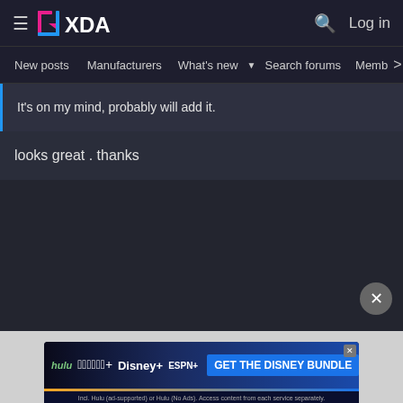XDA Forums — Log in
New posts  Manufacturers  What's new  Search forums  Members  >
It's on my mind, probably will add it.
looks great . thanks
[Figure (screenshot): Disney Bundle advertisement banner: Hulu, Disney+, ESPN+, GET THE DISNEY BUNDLE. Incl. Hulu (ad-supported) or Hulu (No Ads). Access content from each service separately. ©2021 Disney and its related entities]